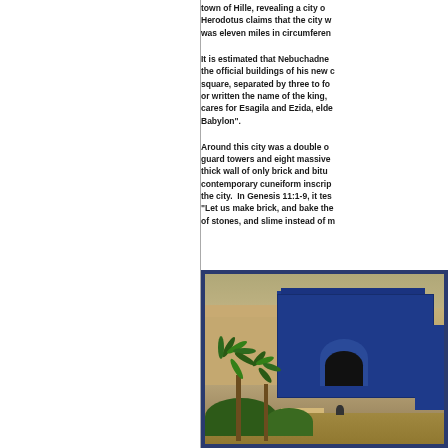town of Hille, revealing a city of Herodotus claims that the city w was eleven miles in circumferen
It is estimated that Nebuchadne the official buildings of his new c square, separated by three to fo or written the name of the king, cares for Esagila and Ezida, elde Babylon".
Around this city was a double o guard towers and eight massive thick wall of only brick and bitu contemporary cuneiform inscrip the city.  In Genesis 11:1-9, it tes "Let us make brick, and bake the of stones, and slime instead of m
[Figure (illustration): Artist reconstruction of ancient Babylon showing the Ishtar Gate with blue glazed brick walls, massive arched gateway, palm trees in the foreground, desert landscape in background, and surrounding walls with crenellations.]